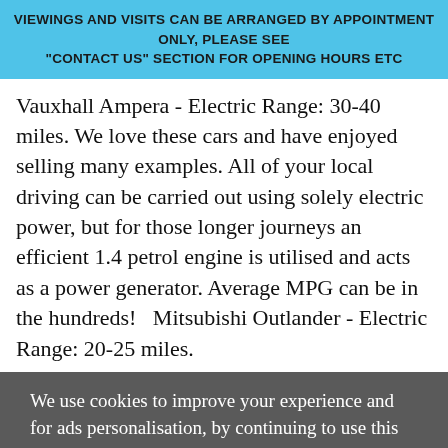VIEWINGS AND VISITS CAN BE ARRANGED BY APPOINTMENT ONLY, PLEASE SEE "CONTACT US" SECTION FOR OPENING HOURS ETC
Vauxhall Ampera - Electric Range: 30-40 miles. We love these cars and have enjoyed selling many examples. All of your local driving can be carried out using solely electric power, but for those longer journeys an efficient 1.4 petrol engine is utilised and acts as a power generator. Average MPG can be in the hundreds!   Mitsubishi Outlander - Electric Range: 20-25 miles.
We use cookies to improve your experience and for ads personalisation, by continuing to use this website, you are agreeing to our cookie policy.
Settings
Accept all